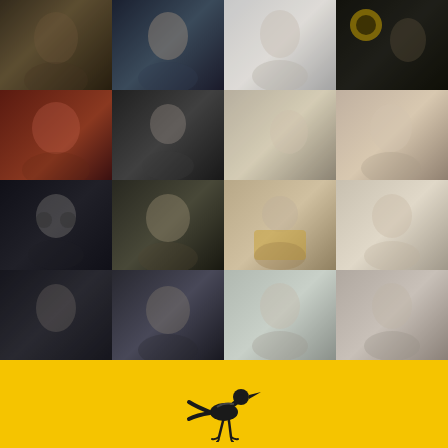[Figure (photo): 4x4 grid of 16 portrait photos of actors/filmmakers (headshots and film stills), arranged in rows. Row 1: elderly man in dark dramatic lighting, young man in dark jacket, bald man with intense gaze, man with yellow headphones in profile. Row 2: red-haired woman laughing, bald man in grey shirt, blonde woman in profile, blonde woman looking sideways. Row 3: man with round glasses, young man smiling outdoors, bald woman with painted face wearing yellow top, woman in floral top outdoors. Row 4: young woman in dark moody lighting, man with sunglasses outdoors, blonde woman serious expression, young blonde woman serious expression.]
[Figure (logo): Yellow banner at the bottom with a bird logo (resembling a film festival bird/crane motif) centered on the yellow background.]